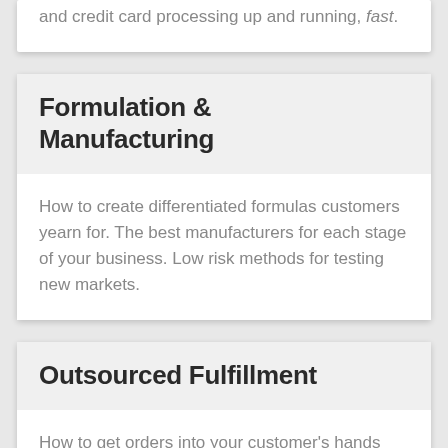and credit card processing up and running, fast.
Formulation & Manufacturing
How to create differentiated formulas customers yearn for. The best manufacturers for each stage of your business. Low risk methods for testing new markets.
Outsourced Fulfillment
How to get orders into your customer's hands fast and at the lowest cost